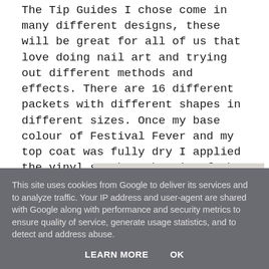The Tip Guides I chose come in many different designs, these will be great for all of us that love doing nail art and trying out different methods and effects. There are 16 different packets with different shapes in different sizes. Once my base colour of Festival Fever and my top coat was fully dry I applied the vinyl so that the tip of the triangle was in the center. Make sure your top coat is completely dry before applying these as they will pull up your colour underneath if it is not.
[Figure (photo): Close-up photo of a pink nail with a vinyl tip guide applied, on a grey background]
This site uses cookies from Google to deliver its services and to analyze traffic. Your IP address and user-agent are shared with Google along with performance and security metrics to ensure quality of service, generate usage statistics, and to detect and address abuse.
LEARN MORE    OK